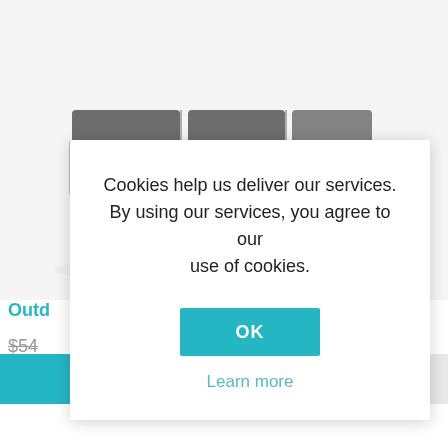[Figure (photo): Outdoor wicker/rattan sectional sofa set with dark gray cushions, shown from a slight angle, photographed on a white background.]
Outd…
$54…
Cookies help us deliver our services. By using our services, you agree to our use of cookies.
OK
Learn more
ADD TO CART